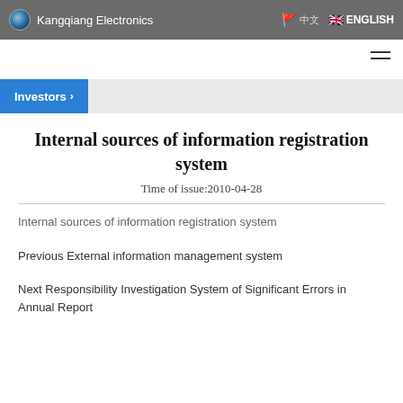Kangqiang Electronics | 中文 | ENGLISH
Internal sources of information registration system
Time of issue:2010-04-28
Internal sources of information registration system
Previous External information management system
Next Responsibility Investigation System of Significant Errors in Annual Report